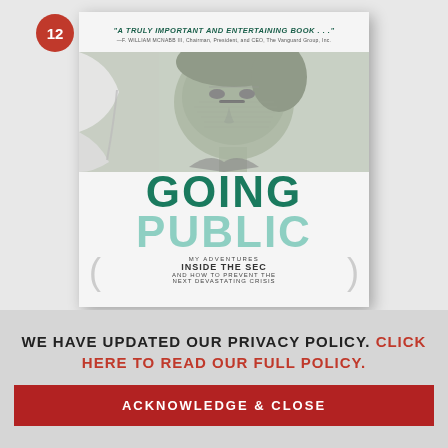[Figure (illustration): Book cover of 'Going Public: My Adventures Inside the SEC and How to Prevent the Next Devastating Crisis'. Features a curled paper revealing a close-up of Alexander Hamilton's face from currency. Title text in teal/green. Quote at top from F. William McNabb III, Chairman, President, and CEO, The Vanguard Group, Inc. Red number badge '12' in top-left corner.]
WE HAVE UPDATED OUR PRIVACY POLICY. CLICK HERE TO READ OUR FULL POLICY.
ACKNOWLEDGE & CLOSE